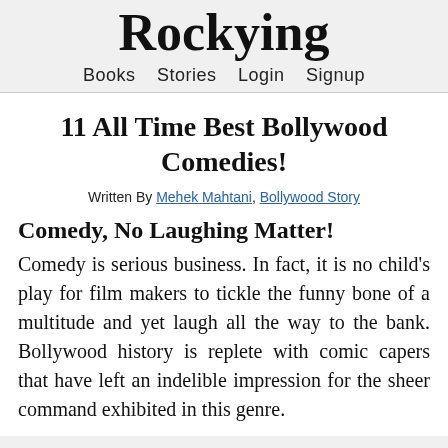Rockying
Books  Stories  Login  Signup
11 All Time Best Bollywood Comedies!
Written By Mehek Mahtani, Bollywood Story
Comedy, No Laughing Matter!
Comedy is serious business. In fact, it is no child's play for film makers to tickle the funny bone of a multitude and yet laugh all the way to the bank. Bollywood history is replete with comic capers that have left an indelible impression for the sheer command exhibited in this genre.